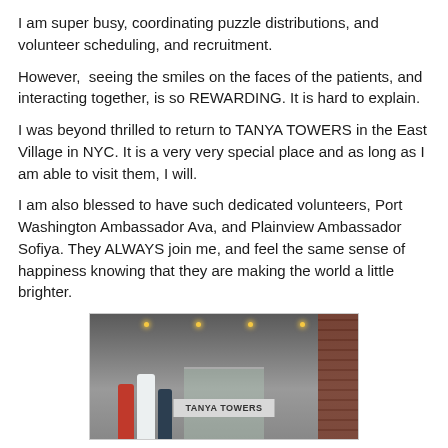I am super busy, coordinating puzzle distributions, and volunteer scheduling, and recruitment.
However,  seeing the smiles on the faces of the patients, and interacting together, is so REWARDING. It is hard to explain.
I was beyond thrilled to return to TANYA TOWERS in the East Village in NYC. It is a very very special place and as long as I am able to visit them, I will.
I am also blessed to have such dedicated volunteers, Port Washington Ambassador Ava, and Plainview Ambassador Sofiya. They ALWAYS join me, and feel the same sense of happiness knowing that they are making the world a little brighter.
[Figure (photo): Exterior photo of Tanya Towers building entrance in NYC. Two or three people stand in front of a sign reading 'TANYA TOWERS'. The building has a covered entrance with ceiling lights visible, and a brick wall on the right side.]